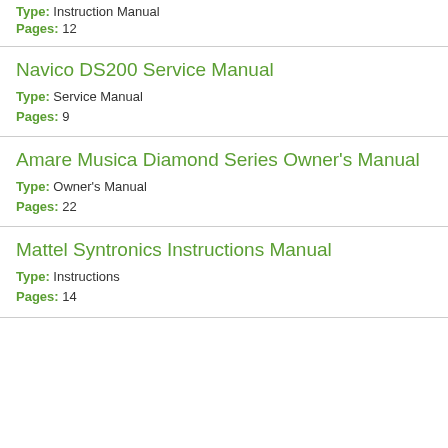Type: Instruction Manual
Pages: 12
Navico DS200 Service Manual
Type: Service Manual
Pages: 9
Amare Musica Diamond Series Owner's Manual
Type: Owner's Manual
Pages: 22
Mattel Syntronics Instructions Manual
Type: Instructions
Pages: 14